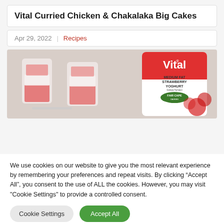Vital Curried Chicken & Chakalaka Big Cakes
Apr 29, 2022  |  Recipes
[Figure (photo): Photo of two dessert glasses with layers of yoghurt and strawberries, alongside a large container of Vital Medium Fat Strawberry Yoghurt (Fair Cape Dairies brand), with strawberries in the background.]
We use cookies on our website to give you the most relevant experience by remembering your preferences and repeat visits. By clicking “Accept All”, you consent to the use of ALL the cookies. However, you may visit "Cookie Settings" to provide a controlled consent.
Cookie Settings
Accept All